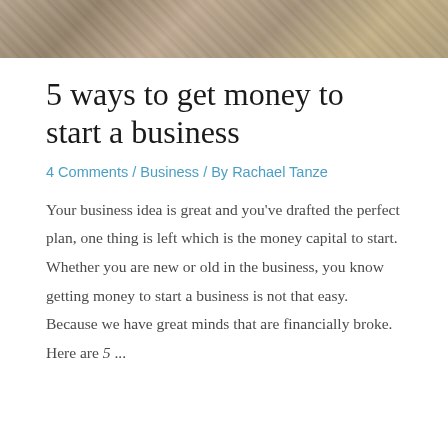[Figure (photo): Photo strip at top of page showing money/cash bills in a dark-toned image]
5 ways to get money to start a business
4 Comments / Business / By Rachael Tanze
Your business idea is great and you've drafted the perfect plan, one thing is left which is the money capital to start. Whether you are new or old in the business, you know getting money to start a business is not that easy. Because we have great minds that are financially broke. Here are 5 ...